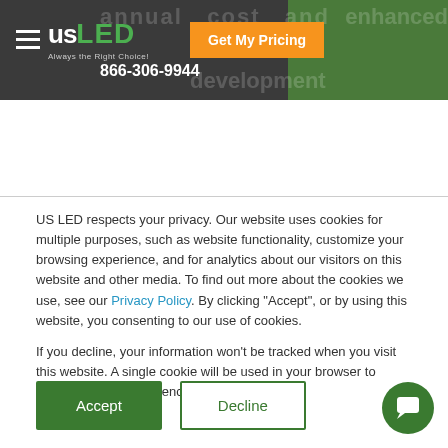[Figure (logo): US LED logo with tagline 'Always the Right Choice!' on dark grey header bar with phone number 866-306-9944 and orange 'Get My Pricing' button]
US LED respects your privacy. Our website uses cookies for multiple purposes, such as website functionality, customize your browsing experience, and for analytics about our visitors on this website and other media. To find out more about the cookies we use, see our Privacy Policy. By clicking "Accept", or by using this website, you consenting to our use of cookies.
If you decline, your information won’t be tracked when you visit this website. A single cookie will be used in your browser to remember your preference not to be tracked.